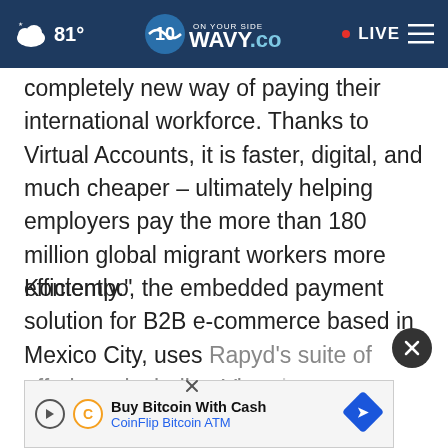81° WAVY.com ON YOUR SIDE LIVE
completely new way of paying their international workforce. Thanks to Virtual Accounts, it is faster, digital, and much cheaper – ultimately helping employers pay the more than 180 million global migrant workers more efficiently."
Kontempo, the embedded payment solution for B2B e-commerce based in Mexico City, uses Rapyd's suite of offerings, including Virtual Accou...
[Figure (screenshot): Advertisement banner: Buy Bitcoin With Cash - CoinFlip Bitcoin ATM, with play button icon, CoinFlip C logo, and diamond navigation sign icon. A dark circular close (X) button appears above the ad.]